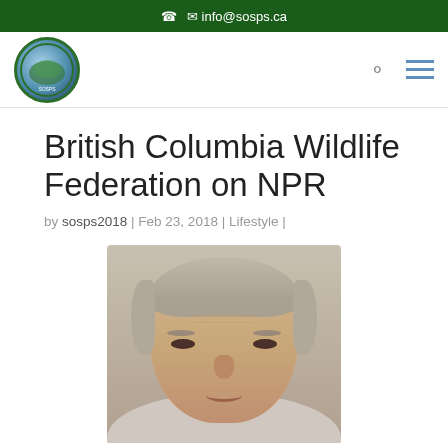✆  ✉ info@sosps.ca
[Figure (logo): Circular logo of Save Our Southern Pineywoods organization with green border]
British Columbia Wildlife Federation on NPR
by sosps2018 | Feb 23, 2018 | Lifestyle |
[Figure (photo): Headshot photo of an older man with gray hair, facing forward]